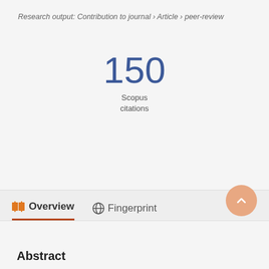Research output: Contribution to journal › Article › peer-review
150
Scopus
citations
Overview
Fingerprint
Abstract